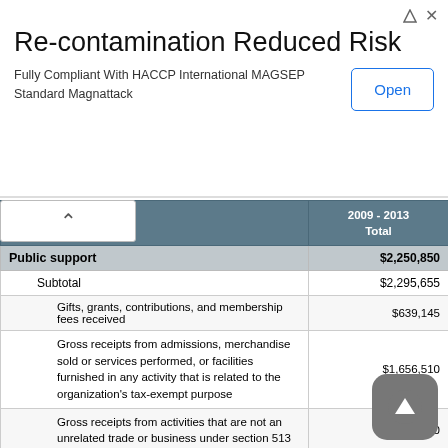[Figure (other): Advertisement banner: Re-contamination Reduced Risk. Fully Compliant With HACCP International MAGSEP Standard Magnattack. Open button.]
|  | 2009 - 2013 Total |
| --- | --- |
| Public support | $2,250,850 |
| Subtotal | $2,295,655 |
| Gifts, grants, contributions, and membership fees received | $639,145 |
| Gross receipts from admissions, merchandise sold or services performed, or facilities furnished in any activity that is related to the organization's tax-exempt purpose | $1,656,510 |
| Gross receipts from activities that are not an unrelated trade or business under section 513 | $0 |
| Tax revenues levied for the organization's benefit and either paid to or expended on its behalf | $0 |
| The value of services or facilities furnished by a governmental unit to the organization without charge | $0 |
| Less | $44,805 |
| Amounts received from disqualified persons | $44,805 |